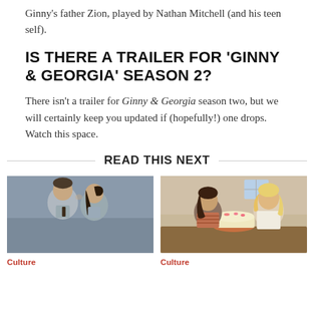Ginny's father Zion, played by Nathan Mitchell (and his teen self).
IS THERE A TRAILER FOR 'GINNY & GEORGIA' SEASON 2?
There isn't a trailer for Ginny & Georgia season two, but we will certainly keep you updated if (hopefully!) one drops. Watch this space.
READ THIS NEXT
[Figure (photo): Two teenagers leaning foreheads together, a boy in a grey shirt with a tie and a girl with a dark braid, from a TV show]
Culture
[Figure (photo): Two women facing each other over a pink cake on a wooden board, one in a striped top and one in a white tank top, from a TV show]
Culture